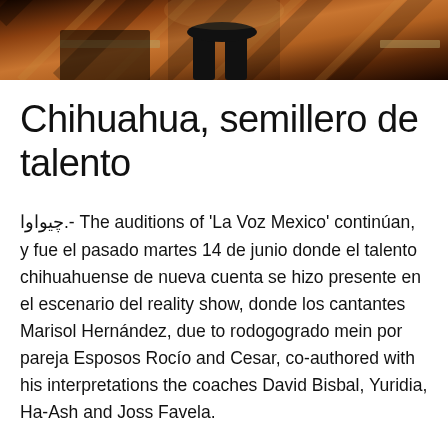[Figure (photo): Top portion of a photo showing a person in a black outfit on a stage with a geometric patterned background in warm brown and orange tones]
Chihuahua, semillero de talento
چیواوا.- The auditions of 'La Voz Mexico' continúan, y fue el pasado martes 14 de junio donde el talento chihuahuense de nueva cuenta se hizo presente en el escenario del reality show, donde los cantantes Marisol Hernández, due to rodogogrado mein por pareja Esposos Rocío and Cesar, co-authored with his interpretations the coaches David Bisbal, Yuridia, Ha-Ash and Joss Favela.